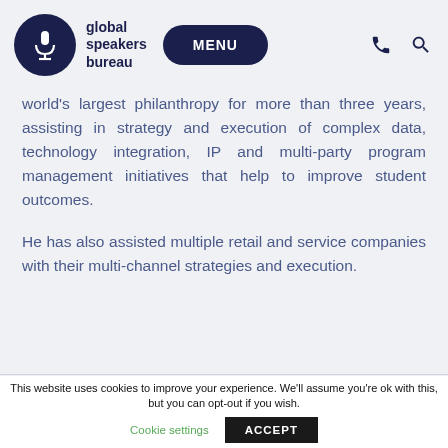global speakers bureau
world's largest philanthropy for more than three years, assisting in strategy and execution of complex data, technology integration, IP and multi-party program management initiatives that help to improve student outcomes.
He has also assisted multiple retail and service companies with their multi-channel strategies and execution.
This website uses cookies to improve your experience. We'll assume you're ok with this, but you can opt-out if you wish.
Cookie settings
ACCEPT